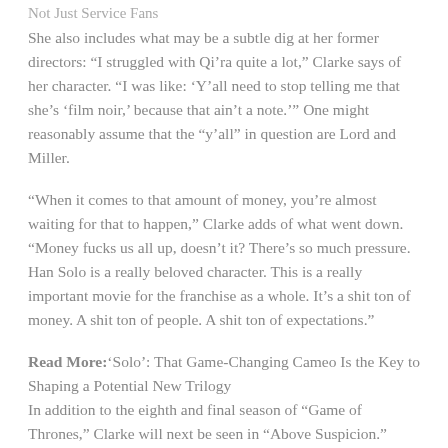Not Just Service Fans
She also includes what may be a subtle dig at her former directors: “I struggled with Qi’ra quite a lot,” Clarke says of her character. “I was like: ‘Y’all need to stop telling me that she’s ‘film noir,’ because that ain’t a note.’” One might reasonably assume that the “y’all” in question are Lord and Miller.
“When it comes to that amount of money, you’re almost waiting for that to happen,” Clarke adds of what went down. “Money fucks us all up, doesn’t it? There’s so much pressure. Han Solo is a really beloved character. This is a really important movie for the franchise as a whole. It’s a shit ton of money. A shit ton of people. A shit ton of expectations.”
Read More:‘Solo’: That Game-Changing Cameo Is the Key to Shaping a Potential New Trilogy
In addition to the eighth and final season of “Game of Thrones,” Clarke will next be seen in “Above Suspicion.”